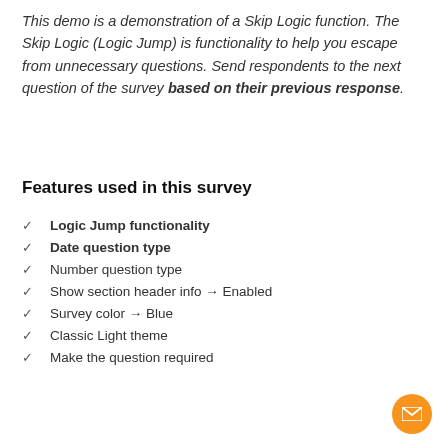This demo is a demonstration of a Skip Logic function. The Skip Logic (Logic Jump) is functionality to help you escape from unnecessary questions. Send respondents to the next question of the survey based on their previous response.
Features used in this survey
Logic Jump functionality
Date question type
Number question type
Show section header info → Enabled
Survey color → Blue
Classic Light theme
Make the question required